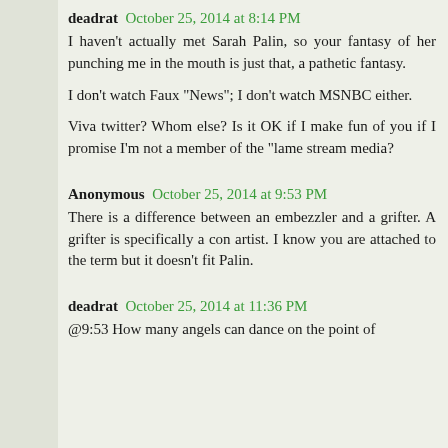deadrat  October 25, 2014 at 8:14 PM
I haven't actually met Sarah Palin, so your fantasy of her punching me in the mouth is just that, a pathetic fantasy.

I don't watch Faux "News"; I don't watch MSNBC either.

Viva twitter? Whom else? Is it OK if I make fun of you if I promise I'm not a member of the "lame stream media?
Anonymous  October 25, 2014 at 9:53 PM
There is a difference between an embezzler and a grifter. A grifter is specifically a con artist. I know you are attached to the term but it doesn't fit Palin.
deadrat  October 25, 2014 at 11:36 PM
@9:53  How many angels can dance on the point of